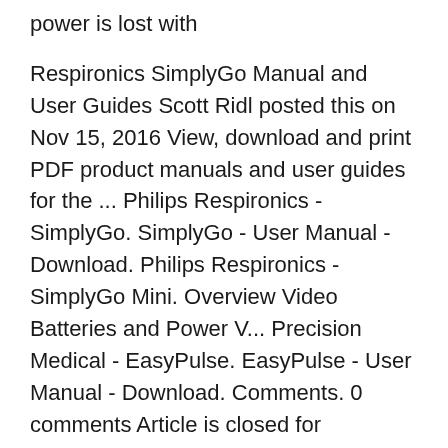power is lost with
Respironics SimplyGo Manual and User Guides Scott Ridl posted this on Nov 15, 2016 View, download and print PDF product manuals and user guides for the ... Philips Respironics - SimplyGo. SimplyGo - User Manual - Download. Philips Respironics - SimplyGo Mini. Overview Video Batteries and Power V... Precision Medical - EasyPulse. EasyPulse - User Manual - Download. Comments. 0 comments Article is closed for comments.
Philips SimplyGo is the first portable oxygen concentrator to offer both continuous flow and pulse-dose delivery in a single device weighing only 4.5 kg. The SimplyGo sets a new standard in